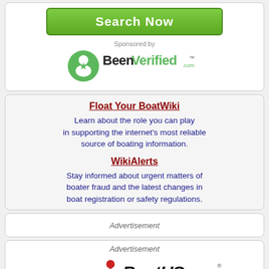Search Now
Sponsored by
[Figure (logo): BeenVerified.com logo with green circle icon and bold text]
Float Your BoatWiki
Learn about the role you can play in supporting the internet's most reliable source of boating information.
WikiAlerts
Stay informed about urgent matters of boater fraud and the latest changes in boat registration or safety regulations.
Advertisement
Advertisement
[Figure (logo): BoatUS logo with red figure icon and bold italic text]